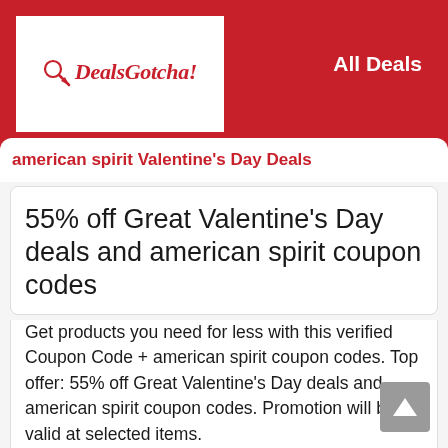DealsGotcha! All Deals
american spirit Valentine's Day Deals
55% off Great Valentine's Day deals and american spirit coupon codes
Get products you need for less with this verified Coupon Code + american spirit coupon codes. Top offer: 55% off Great Valentine's Day deals and american spirit coupon codes. Promotion will be valid at selected items.